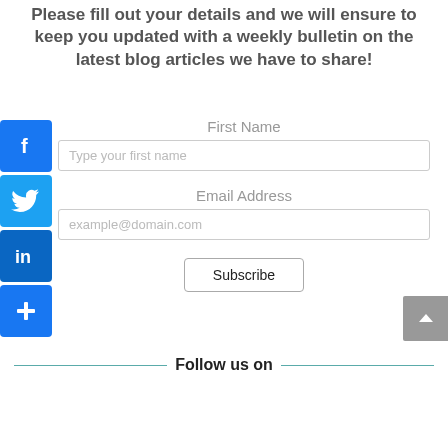Please fill out your details and we will ensure to keep you updated with a weekly bulletin on the latest blog articles we have to share!
[Figure (infographic): Social media share icons: Facebook (blue), Twitter (blue bird), LinkedIn (blue), and a blue plus/share button, stacked vertically on the left side]
First Name
Type your first name
Email Address
example@domain.com
Subscribe
Follow us on
[Figure (infographic): Scroll to top button (grey square with upward caret arrow) on the right side]